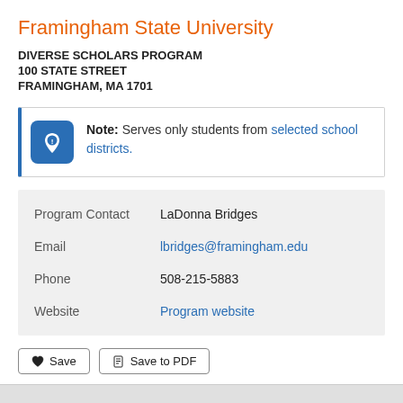Framingham State University
DIVERSE SCHOLARS PROGRAM
100 STATE STREET
FRAMINGHAM, MA 1701
Note: Serves only students from selected school districts.
| Field | Value |
| --- | --- |
| Program Contact | LaDonna Bridges |
| Email | lbridges@framingham.edu |
| Phone | 508-215-5883 |
| Website | Program website |
Save | Save to PDF